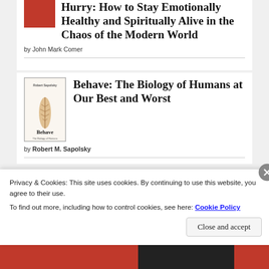Hurry: How to Stay Emotionally Healthy and Spiritually Alive in the Chaos of the Modern World
by John Mark Comer
[Figure (illustration): Book cover thumbnail for 'Behave' by Robert M. Sapolsky]
Behave: The Biology of Humans at Our Best and Worst
by Robert M. Sapolsky
Privacy & Cookies: This site uses cookies. By continuing to use this website, you agree to their use. To find out more, including how to control cookies, see here: Cookie Policy